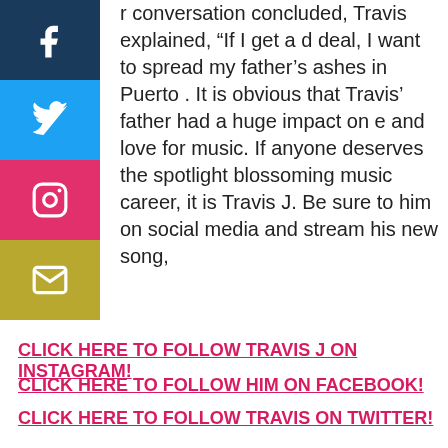[Figure (other): Social media share sidebar with Facebook, Twitter, Instagram, and email buttons]
r conversation concluded, Travis explained, “If I get a d deal, I want to spread my father’s ashes in Puerto . It is obvious that Travis’ father had a huge impact on e and love for music. If anyone deserves the spotlight blossoming music career, it is Travis J. Be sure to him on social media and stream his new song, “Hearts”.
CLICK HERE TO FOLLOW TRAVIS J ON INSTAGRAM!
CLICK HERE TO FOLLOW HIM ON FACEBOOK!
CLICK HERE TO FOLLOW TRAVIS ON TWITTER!
STREAM “HEARTS” NOW!
Tagged american idolnew musicrnbrnb musicrnb travis j